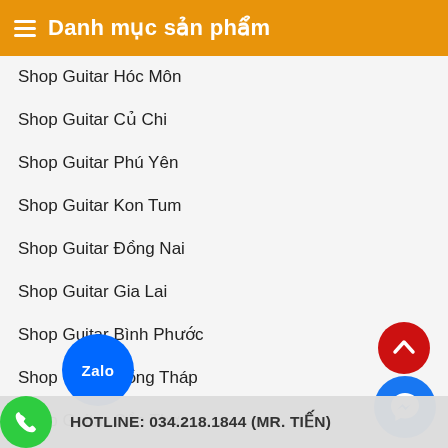Danh mục sản phẩm
Shop Guitar Hóc Môn
Shop Guitar Củ Chi
Shop Guitar Phú Yên
Shop Guitar Kon Tum
Shop Guitar Đồng Nai
Shop Guitar Gia Lai
Shop Guitar Bình Phước
Shop Guitar Đồng Tháp
Shop Guitar Cần Thơ
Shop Guitar An Giang
Shop Guitar Kiên Giang
Shop Guitar Tiền Giang
Shop Guitar Long An
Shop Guitar Vĩnh Long
Shop Guitar Nhà Á...
HOTLINE: 034.218.1844 (MR. TIẾN)